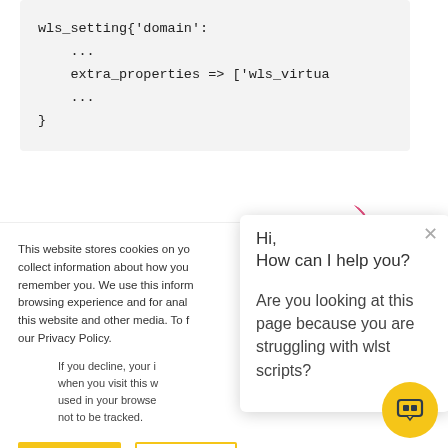wls_setting{'domain':
    ...
    extra_properties => ['wls_virtua
    ...
}
This website stores cookies on yo... collect information about how you... remember you. We use this inform... browsing experience and for anal... this website and other media. To f... our Privacy Policy.
If you decline, your i... when you visit this w... used in your browse... not to be tracked.
Hi,
How can I help you?

Are you looking at this page because you are struggling with wlst scripts?